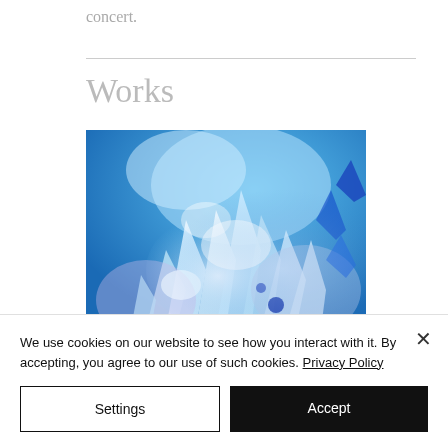concert.
Works
[Figure (illustration): Abstract digital artwork with swirling blue, white, and purple crystal-like shapes on a blue background]
We use cookies on our website to see how you interact with it. By accepting, you agree to our use of such cookies. Privacy Policy
Settings
Accept